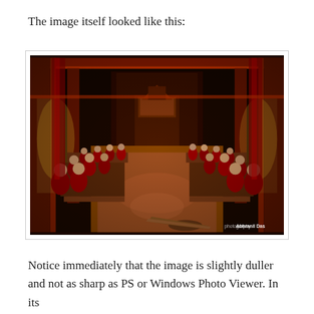The image itself looked like this:
[Figure (photo): Interior of a Tibetan Buddhist monastery hall with rows of monks in red robes seated at long wooden benches on both sides, ornate red and gold decorated walls and pillars, warm wooden floor, altar visible at the far end, and a large ceremonial horn on the floor in the foreground. Watermark reads 'photography Abhranil Das'.]
Notice immediately that the image is slightly duller and not as sharp as PS or Windows Photo Viewer. In its